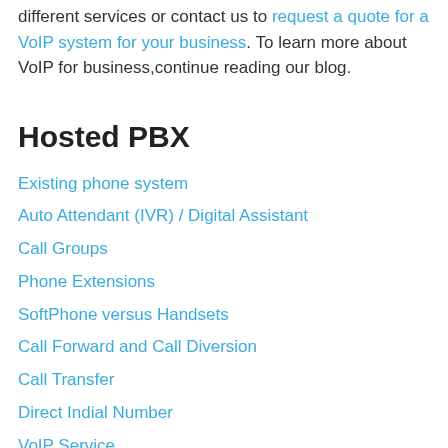different services or contact us to request a quote for a VoIP system for your business. To learn more about VoIP for business, continue reading our blog.
Hosted PBX
Existing phone system
Auto Attendant (IVR) / Digital Assistant
Call Groups
Phone Extensions
SoftPhone versus Handsets
Call Forward and Call Diversion
Call Transfer
Direct Indial Number
VoIP Service